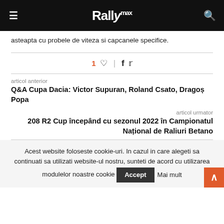Rallymax
asteapta cu probele de viteza si capcanele specifice.
1 ♡  |  f  🐦
articol anterior
Q&A Cupa Dacia: Victor Supuran, Roland Csato, Dragoș Popa
articol urmator
208 R2 Cup începând cu sezonul 2022 în Campionatul Național de Raliuri Betano
Acest website foloseste cookie-uri. In cazul in care alegeti sa continuati sa utilizati website-ul nostru, sunteti de acord cu utilizarea modulelor noastre cookie  Accept  Mai mult